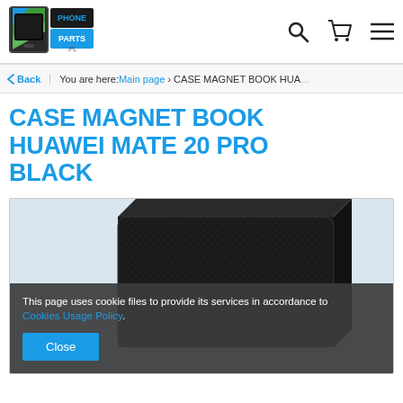[Figure (logo): PhoneParts.pl logo with green/blue phone icon and text PHONEPARTS.PL]
Navigation icons: search, cart, menu
< Back   You are here: Main page > CASE MAGNET BOOK HUAWEI MATE 20 PRO BLACK
CASE MAGNET BOOK HUAWEI MATE 20 PRO BLACK
[Figure (photo): Product photo of a black Huawei Mate 20 Pro magnetic book case with crosshatch texture pattern, shown from above at an angle]
This page uses cookie files to provide its services in accordance to Cookies Usage Policy.
Close